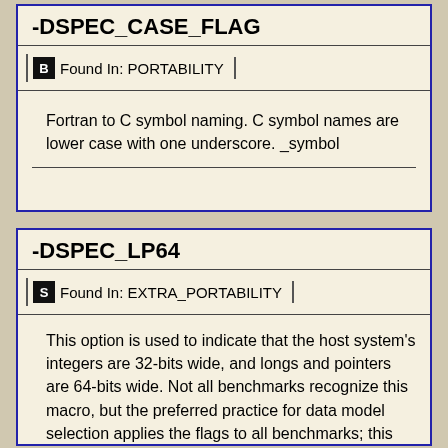-DSPEC_CASE_FLAG
Found In: PORTABILITY
Fortran to C symbol naming. C symbol names are lower case with one underscore. _symbol
-DSPEC_LP64
Found In: EXTRA_PORTABILITY
This option is used to indicate that the host system's integers are 32-bits wide, and longs and pointers are 64-bits wide. Not all benchmarks recognize this macro, but the preferred practice for data model selection applies the flags to all benchmarks; this flag description is a